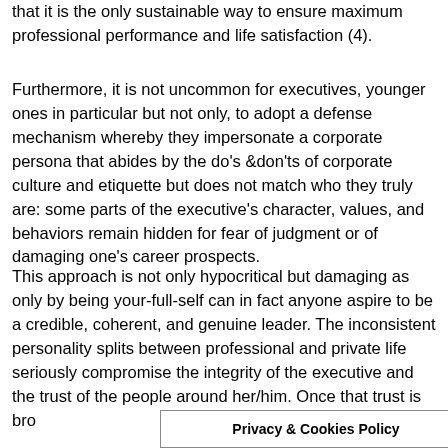that it is the only sustainable way to ensure maximum professional performance and life satisfaction (4).
Furthermore, it is not uncommon for executives, younger ones in particular but not only, to adopt a defense mechanism whereby they impersonate a corporate persona that abides by the do's &don'ts of corporate culture and etiquette but does not match who they truly are: some parts of the executive's character, values, and behaviors remain hidden for fear of judgment or of damaging one's career prospects.
This approach is not only hypocritical but damaging as only by being your-full-self can in fact anyone aspire to be a credible, coherent, and genuine leader. The inconsistent personality splits between professional and private life seriously compromise the integrity of the executive and the trust of the people around her/him. Once that trust is bro... it will